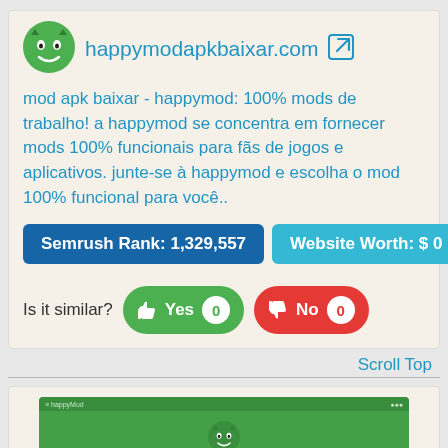[Figure (logo): HappyMod green devil face logo icon]
happymodapkbaixar.com
mod apk baixar - happymod: 100% mods de trabalho! a happymod se concentra em fornecer mods 100% funcionais para fãs de jogos e aplicativos. junte-se à happymod e escolha o mod 100% funcional para você..
Semrush Rank: 1,329,557
Website Worth: $ 0
Is it similar?
Yes 0
No 0
Scroll Top
[Figure (screenshot): Screenshot of happymodapkbaixar.com website showing HappyMod green interface with logo, title, search bar and download button]